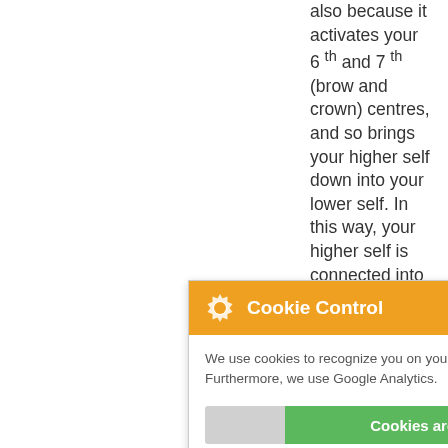also because it activates your 6 th and 7 th (brow and crown) centres, and so brings your higher self down into your lower self. In this way, your higher self is connected into r self etter nd ou. er n you resilience t
[Figure (screenshot): Cookie Control popup overlay with orange header showing gear icon and 'Cookie Control' title with X close button. Body text reads 'We use cookies to recognize you on your next visit. Furthermore, we use Google Analytics.' A toggle bar shows 'Cookies are on' in green. An 'about this tool' link appears in orange. A 'read More' orange button is at the bottom.]